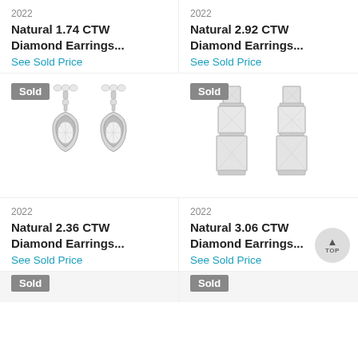2022
Natural 1.74 CTW Diamond Earrings...
See Sold Price
2022
Natural 2.92 CTW Diamond Earrings...
See Sold Price
[Figure (photo): Pair of vintage-style oval diamond drop earrings with halo settings in white gold, Sold badge overlay]
[Figure (photo): Pair of princess-cut diamond three-stone drop earrings in white gold, Sold badge overlay]
2022
Natural 2.36 CTW Diamond Earrings...
See Sold Price
2022
Natural 3.06 CTW Diamond Earrings...
See Sold Price
[Figure (photo): Partial view of diamond earrings with Sold badge, bottom of page cut off]